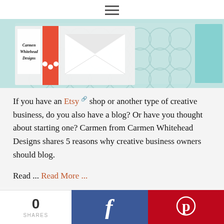≡ (hamburger menu)
[Figure (photo): Product photo showing Carmen Whitehead Designs branded stationery card with red/coral stripe, light blue geometric patterned paper, and white envelope, placed on a light surface]
If you have an Etsy shop or another type of creative business, do you also have a blog? Or have you thought about starting one? Carmen from Carmen Whitehead Designs shares 5 reasons why creative business owners should blog.
Read ... Read More ...